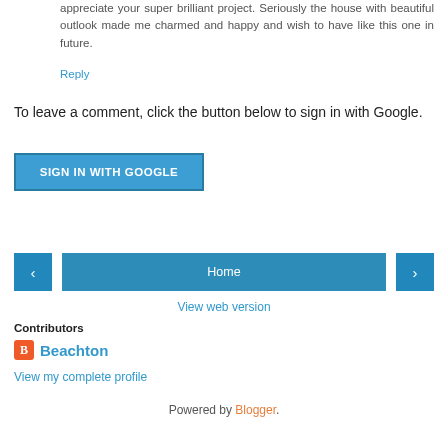appreciate your super brilliant project. Seriously the house with beautiful outlook made me charmed and happy and wish to have like this one in future.
Reply
To leave a comment, click the button below to sign in with Google.
[Figure (other): SIGN IN WITH GOOGLE button]
[Figure (other): Navigation bar with left arrow, Home button, and right arrow]
View web version
Contributors
Beachton
View my complete profile
Powered by Blogger.